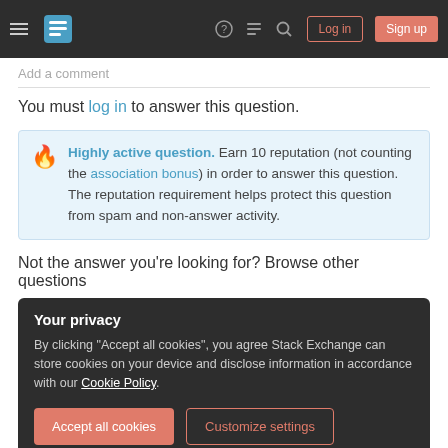Stack Exchange navigation header with Log in and Sign up buttons
Add a comment
You must log in to answer this question.
Highly active question. Earn 10 reputation (not counting the association bonus) in order to answer this question. The reputation requirement helps protect this question from spam and non-answer activity.
Not the answer you’re looking for? Browse other questions
Your privacy
By clicking “Accept all cookies”, you agree Stack Exchange can store cookies on your device and disclose information in accordance with our Cookie Policy.
Accept all cookies | Customize settings